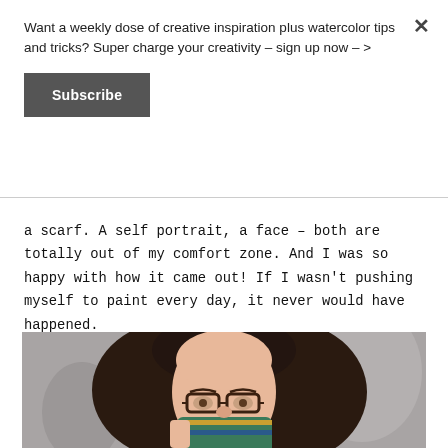Want a weekly dose of creative inspiration plus watercolor tips and tricks? Super charge your creativity – sign up now – >
Subscribe
a scarf. A self portrait, a face – both are totally out of my comfort zone. And I was so happy with how it came out! If I wasn't pushing myself to paint every day, it never would have happened.
[Figure (illustration): Watercolor self portrait of a person with long dark hair, glasses, and a scarf covering the lower face, painted on a grey background.]